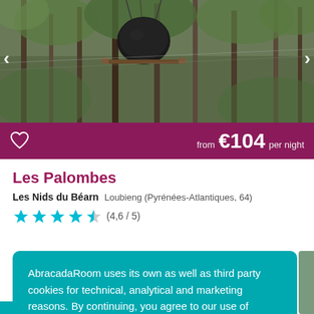[Figure (photo): Treehouse pod suspended among trees in a forest, viewed from below. Dark spherical pod visible against green leafy canopy with wooden platforms/walkways.]
from €104 per night
Les Palombes
Les Nids du Béarn   Loubieng (Pyrénées-Atlantiques, 64)
(4,6 / 5)
AbracadaRoom uses its own as well as third party cookies for technical, analytical and marketing reasons. By continuing, you agree to our use of cookies. Learn More
Close